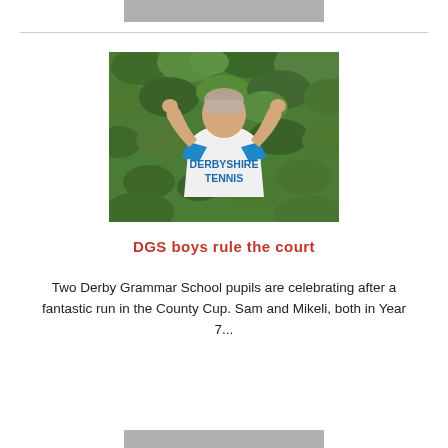[Figure (photo): A boy wearing a white Derbyshire Tennis shirt seen from behind, with both fists raised in a victory pose in front of a green leafy hedge background.]
DGS boys rule the court
Two Derby Grammar School pupils are celebrating after a fantastic run in the County Cup. Sam and Mikeli, both in Year 7...